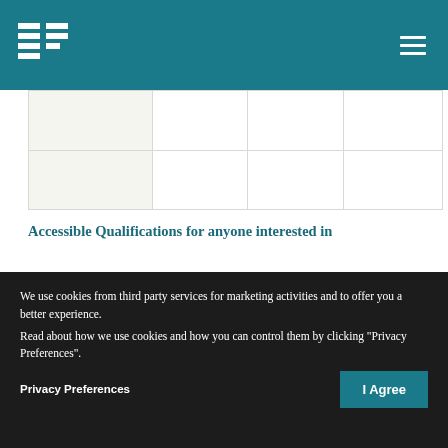EF logo and navigation header
|  |  |  |  |
|  |  |  |  |
Accessible Qualifications for anyone interested in
Location  Cost  Length
We use cookies from third party services for marketing activities and to offer you a better experience.
Read about how we use cookies and how you can control them by clicking "Privacy Preferences".
Privacy Preferences
I Agree